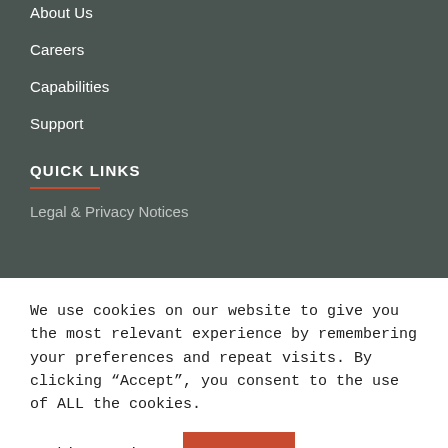About Us
Careers
Capabilities
Support
QUICK LINKS
Legal & Privacy Notices
We use cookies on our website to give you the most relevant experience by remembering your preferences and repeat visits. By clicking “Accept”, you consent to the use of ALL the cookies.
Cookie settings
ACCEPT